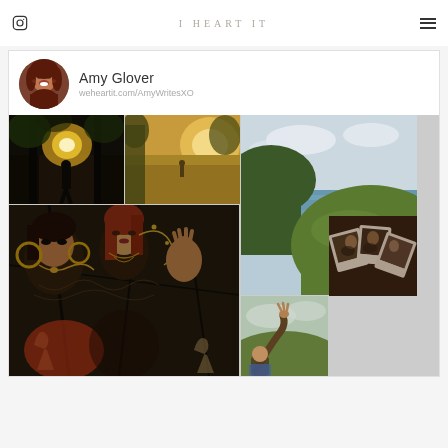I HEART IT
[Figure (photo): Amy Glover profile photo - woman with red hair laughing]
Amy Glover
weheartit.com/AmyWritesXO
[Figure (photo): Dark forest with silhouetted figure and bright light]
[Figure (photo): Sunlit field at golden hour with a person in the distance]
[Figure (photo): Coastal cliff scene with woman in white dress running on grass]
[Figure (illustration): Dark fantasy illustration of women with golden jewelry and vines]
[Figure (photo): Person reaching upward against sky and grass]
[Figure (photo): Collection of vintage polaroid photographs scattered together]